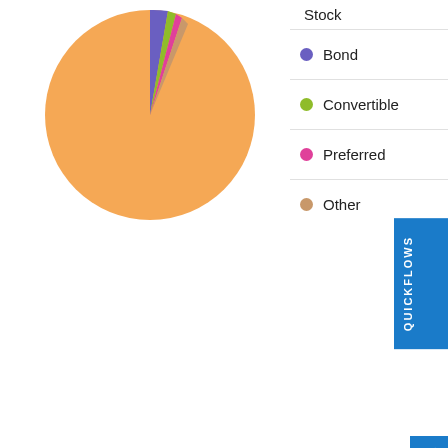[Figure (pie-chart): Asset Type Breakdown]
Stock
Bond
Convertible
Preferred
Other
Region Exposure
% Developed Markets: 92.62%  % Emerging Markets: 7.38%
| Region | Value | Region | Value |
| --- | --- | --- | --- |
| Americas | 35.58% | Greater Europe | 56.11% |
| North America ▼ | Upgrade | United Kingdom | Upgrade |
| Latin America | Upgrade | Europe | Upgrade |